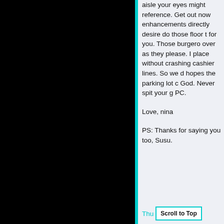aisle your eyes might reference. Get out now enhancements directly desire do those floor t for you. Those burgero over as they please. I place without crashing cashier lines. So we d hopes the parking lot God. Never spit your g PC.
Love, nina
PS: Thanks for saying you too, Susu.
Thu
Scroll to Top